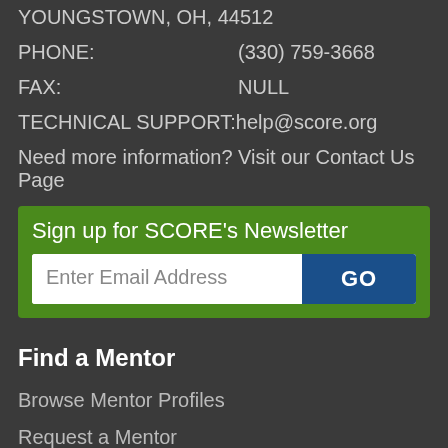YOUNGSTOWN, OH, 44512
PHONE: (330) 759-3668
FAX: NULL
TECHNICAL SUPPORT: help@score.org
Need more information? Visit our Contact Us Page
Sign up for SCORE's Newsletter
Enter Email Address  GO
Find a Mentor
Browse Mentor Profiles
Request a Mentor
Find a Location
Take a Workshop
Local Workshops
Webinars